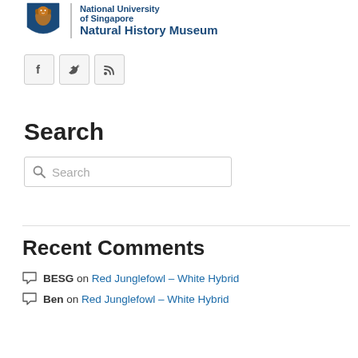[Figure (logo): NUS Lee Kong Chian Natural History Museum logo with lion shield crest, NUS wordmark, and museum name in blue]
[Figure (infographic): Three social media icon buttons: Facebook (f), Twitter (bird), RSS feed (signal icon), each in a light grey bordered box]
Search
[Figure (screenshot): Search input box with magnifying glass icon and placeholder text 'Search']
Recent Comments
BESG on Red Junglefowl – White Hybrid
Ben on Red Junglefowl – White Hybrid